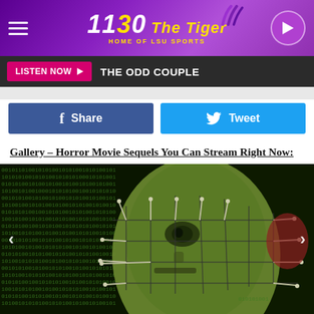1130 THE TIGER - HOME OF LSU SPORTS
LISTEN NOW ▶  THE ODD COUPLE
Share  Tweet
Gallery – Horror Movie Sequels You Can Stream Right Now:
[Figure (photo): A horror movie image showing a pin-headed character (Pinhead from Hellraiser) overlaid with green binary code (0s and 1s), with navigation arrows on either side.]